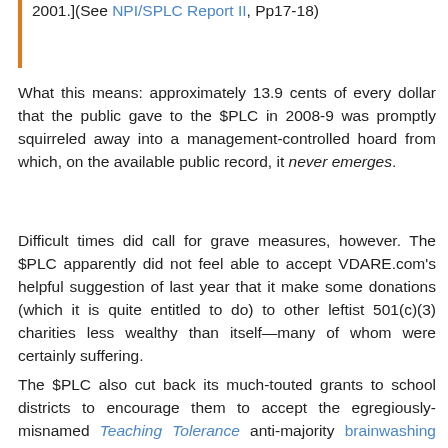2001.](See NPI/SPLC Report II, Pp17-18)
What this means: approximately 13.9 cents of every dollar that the public gave to the $PLC in 2008-9 was promptly squirreled away into a management-controlled hoard from which, on the available public record, it never emerges.
Difficult times did call for grave measures, however. The $PLC apparently did not feel able to accept VDARE.com's helpful suggestion of last year that it make some donations (which it is quite entitled to do) to other leftist 501(c)(3) charities less wealthy than itself—many of whom were certainly suffering.
The $PLC also cut back its much-touted grants to school districts to encourage them to accept the egregiously-misnamed Teaching Tolerance anti-majority brainwashing kits by a striking 44.6%, to